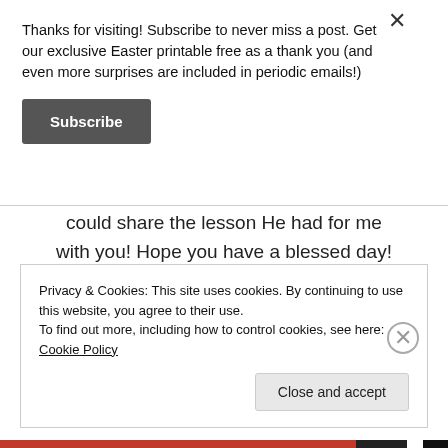Thanks for visiting! Subscribe to never miss a post. Get our exclusive Easter printable free as a thank you (and even more surprises are included in periodic emails!)
Subscribe
could share the lesson He had for me with you! Hope you have a blessed day!
★ Like
Privacy & Cookies: This site uses cookies. By continuing to use this website, you agree to their use.
To find out more, including how to control cookies, see here: Cookie Policy
Close and accept